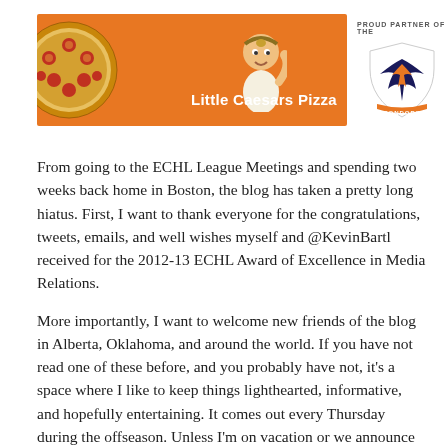[Figure (logo): Little Caesars Pizza orange banner advertisement with pizza image and mascot, alongside Bakersfield Condors 'Proud Partner' logo]
From going to the ECHL League Meetings and spending two weeks back home in Boston, the blog has taken a pretty long hiatus. First, I want to thank everyone for the congratulations, tweets, emails, and well wishes myself and @KevinBartl received for the 2012-13 ECHL Award of Excellence in Media Relations.
More importantly, I want to welcome new friends of the blog in Alberta, Oklahoma, and around the world. If you have not read one of these before, and you probably have not, it's a space where I like to keep things lighthearted, informative, and hopefully entertaining. It comes out every Thursday during the offseason. Unless I'm on vacation or we announce an affiliation with an NHL team. Then it might not come out at all or it will be on a Friday.